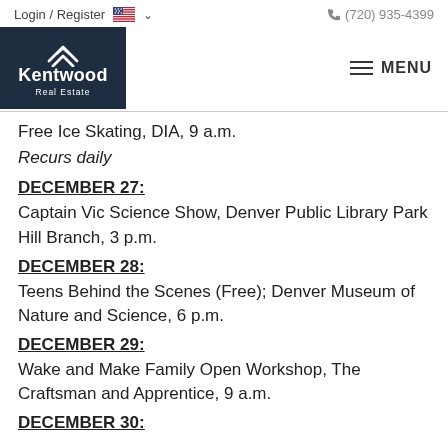Login / Register   (720) 935-4399
[Figure (logo): Kentwood Real Estate logo — dark navy box with wifi-like chevron icon above text 'Kentwood Real Estate']
Free Ice Skating, DIA, 9 a.m.
Recurs daily
DECEMBER 27:
Captain Vic Science Show, Denver Public Library Park Hill Branch, 3 p.m.
DECEMBER 28:
Teens Behind the Scenes (Free); Denver Museum of Nature and Science, 6 p.m.
DECEMBER 29:
Wake and Make Family Open Workshop, The Craftsman and Apprentice, 9 a.m.
DECEMBER 30: